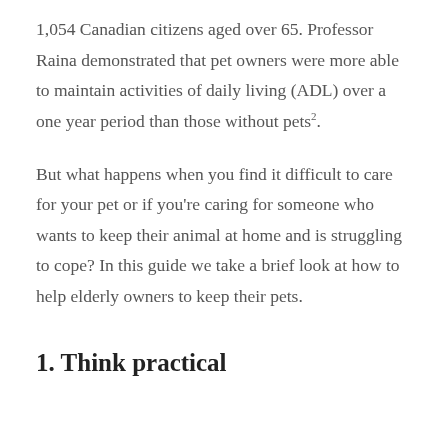1,054 Canadian citizens aged over 65. Professor Raina demonstrated that pet owners were more able to maintain activities of daily living (ADL) over a one year period than those without pets².
But what happens when you find it difficult to care for your pet or if you're caring for someone who wants to keep their animal at home and is struggling to cope? In this guide we take a brief look at how to help elderly owners to keep their pets.
1. Think practical